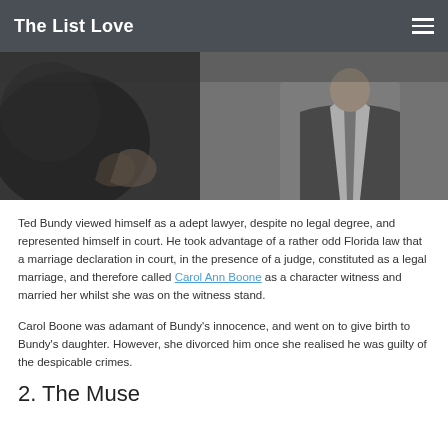The List Love
[Figure (photo): Black and white photo of a man in a suit adjusting his tie, viewed from the side]
Ted Bundy viewed himself as a adept lawyer, despite no legal degree, and represented himself in court. He took advantage of a rather odd Florida law that a marriage declaration in court, in the presence of a judge, constituted as a legal marriage, and therefore called Carol Ann Boone as a character witness and married her whilst she was on the witness stand.
Carol Boone was adamant of Bundy's innocence, and went on to give birth to Bundy's daughter. However, she divorced him once she realised he was guilty of the despicable crimes.
2. The Muse